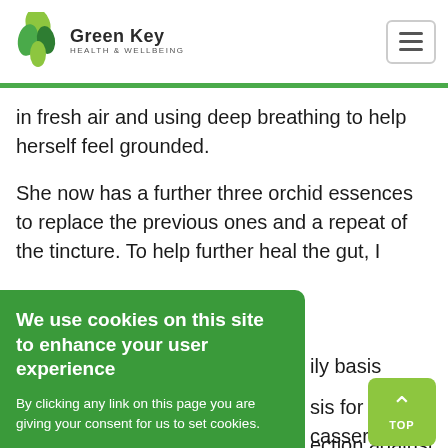Green Key Health & Wellbeing
in fresh air and using deep breathing to help herself feel grounded.
She now has a further three orchid essences to replace the previous ones and a repeat of the tincture. To help further heal the gut, I
ily basis
sis for soups, casseroles
her fermented foods to
diet on a daily basis.
ection against EMF's and
andant or other device
We use cookies on this site to enhance your user experience

By clicking any link on this page you are giving your consent for us to set cookies.

OK, I agree